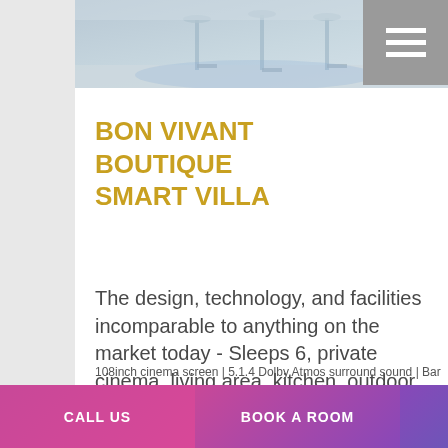[Figure (photo): Interior photo of a modern boutique villa space with bar stools and blue ambient lighting]
[Figure (other): Hamburger menu icon button (three horizontal lines) on grey background, top right corner]
BON VIVANT BOUTIQUE SMART VILLA
The design, technology, and facilities incomparable to anything on the market today - Sleeps 6, private cinema, living area, kitchen, outdoor hot tub for 6
108inch cinema screen | 5.1.4 Dolby Atmos surround sound | Bar area | BBQ Area | Bluetooth sound bar | Complimentary towels | Complimentary
CALL US
BOOK A ROOM
FOOD & DRINK